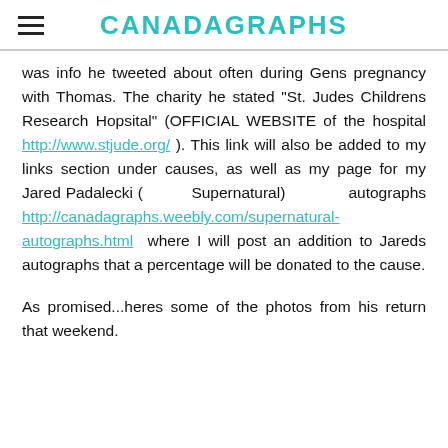CANADAGRAPHS
was info he tweeted about often during Gens pregnancy with Thomas. The charity he stated "St. Judes Childrens Research Hopsital" (OFFICIAL WEBSITE of the hospital http://www.stjude.org/ ). This link will also be added to my links section under causes, as well as my page for my Jared Padalecki ( Supernatural) autographs http://canadagraphs.weebly.com/supernatural-autographs.html where I will post an addition to Jareds autographs that a percentage will be donated to the cause.
As promised...heres some of the photos from his return that weekend.